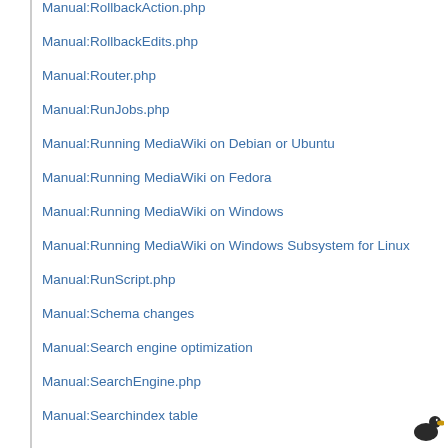Manual:RollbackAction.php
Manual:RollbackEdits.php
Manual:Router.php
Manual:RunJobs.php
Manual:Running MediaWiki on Debian or Ubuntu
Manual:Running MediaWiki on Fedora
Manual:Running MediaWiki on Windows
Manual:Running MediaWiki on Windows Subsystem for Linux
Manual:RunScript.php
Manual:Schema changes
Manual:Search engine optimization
Manual:SearchEngine.php
Manual:Searchindex table